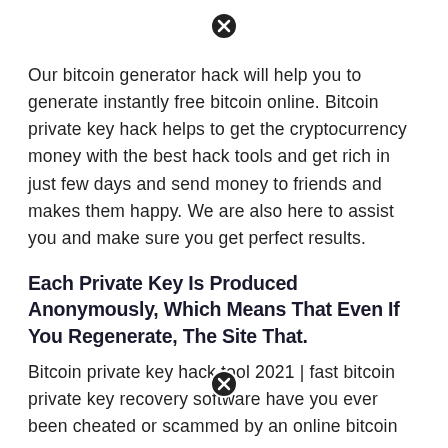[Figure (other): Close/dismiss icon (circled X) at top center of page]
Our bitcoin generator hack will help you to generate instantly free bitcoin online. Bitcoin private key hack helps to get the cryptocurrency money with the best hack tools and get rich in just few days and send money to friends and makes them happy. We are also here to assist you and make sure you get perfect results.
Each Private Key Is Produced Anonymously, Which Means That Even If You Regenerate, The Site That.
Bitcoin private key hack tool 2021 | fast bitcoin private key recovery software have you ever been cheated or scammed by an online bitcoin
[Figure (other): Close/dismiss icon (circled X) at bottom center of page]